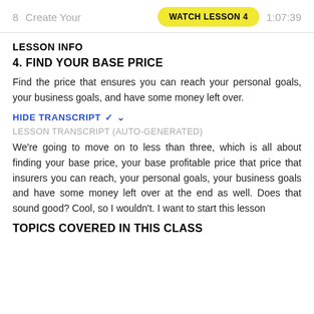8   Create Your   WATCH LESSON 4   1:07:39
LESSON INFO
4. FIND YOUR BASE PRICE
Find the price that ensures you can reach your personal goals, your business goals, and have some money left over.
HIDE TRANSCRIPT ▾
LESSON TRANSCRIPT (auto-generated)
We're going to move on to less than three, which is all about finding your base price, your base profitable price that price that insurers you can reach, your personal goals, your business goals and have some money left over at the end as well. Does that sound good? Cool, so I wouldn't. I want to start this lesson
TOPICS COVERED IN THIS CLASS